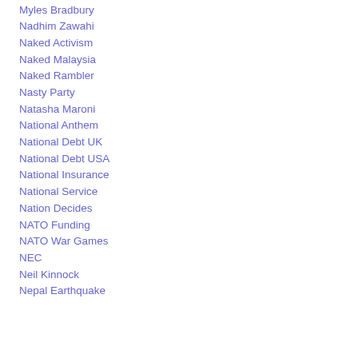Myles Bradbury
Nadhim Zawahi
Naked Activism
Naked Malaysia
Naked Rambler
Nasty Party
Natasha Maroni
National Anthem
National Debt UK
National Debt USA
National Insurance
National Service
Nation Decides
NATO Funding
NATO War Games
NEC
Neil Kinnock
Nepal Earthquake